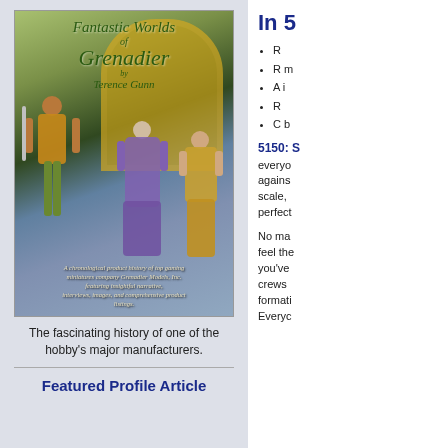[Figure (illustration): Book cover of 'Fantastic Worlds of Grenadier' by Terence Gunn, showing a warrior, a mage, and a woman in fantasy setting with an arch]
The fascinating history of one of the hobby's major manufacturers.
Featured Profile Article
In 52
R
R m
A i
R
C b
5150: S
everyone against scale, perfect
No ma feel the you've crews formati Everyc